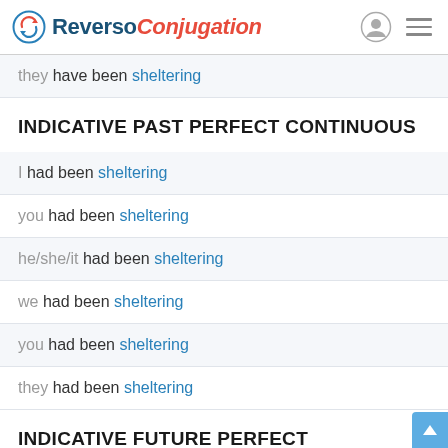Reverso Conjugation
they have been sheltering
INDICATIVE PAST PERFECT CONTINUOUS
I had been sheltering
you had been sheltering
he/she/it had been sheltering
we had been sheltering
you had been sheltering
they had been sheltering
INDICATIVE FUTURE PERFECT CONTINUOUS
I will have been sheltering